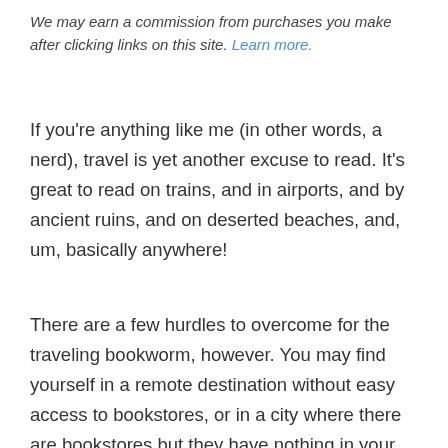We may earn a commission from purchases you make after clicking links on this site. Learn more.
If you're anything like me (in other words, a nerd), travel is yet another excuse to read. It's great to read on trains, and in airports, and by ancient ruins, and on deserted beaches, and, um, basically anywhere!
There are a few hurdles to overcome for the traveling bookworm, however. You may find yourself in a remote destination without easy access to bookstores, or in a city where there are bookstores but they have nothing in your